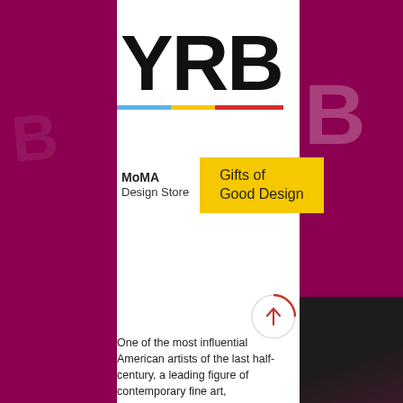[Figure (logo): YRB magazine logo in bold black letters with a color bar below (blue, yellow, red)]
[Figure (infographic): MoMA Design Store - Gifts of Good Design promotional badge with yellow background]
[Figure (illustration): Circular scroll-up button with red upward arrow on light gray background with red arc border]
One of the most influential American artists of the last half-century, a leading figure of contemporary fine art,